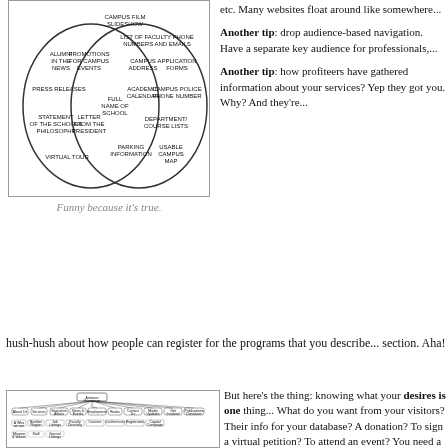[Figure (infographic): Venn diagram showing two overlapping circles. Left circle contains: ALUMNI IN THE NEWS, PROMOTIONS FOR CAMPUS EVENTS, PRESS RELEASES, STATEMENT OF THE SCHOOLS PHILOSOPHY, LETTER FROM THE PRESIDENT, VIRTUAL TOUR. Center overlap: FULL NAME OF SCHOOL. Right circle contains: CAMPUS FILM SLIDESHOW (top), LIST OF FACULTY PHONE NUMBERS AND EMAILS, CAMPUS ADDRESS, APPLICATION FORMS, ACADEMIC CALENDAR, CAMPUS POLICE PHONE NUMBER, DEPARTMENT/COURSE LISTS, PARKING INFORMATION, USABLE CAMPUS MAP.]
Funny because it's true.
etc. Many we... around like so...
Another tip: d... based navigate... separate key a... professionals,...
Another tip: h... profiteers have... information ab... services? Yep... you. Why? An...
hush-hush about how people can register for the programs that you describe... section. Aha!
[Figure (flowchart): Website sitemap/flowchart showing hierarchical navigation structure with Amazon Homepage at top, branching into multiple categories including About Us, Services, Executive Affairs, News & Events, Employment, Books, Contact Us, Media Updates, Get Involved, Publications, Capital Campaign, and their sub-items.]
But here's the... desires is one... What do you w... visitors? Their... database? A d... a virtual petitio... event? You ne... to meet both w... your objective...